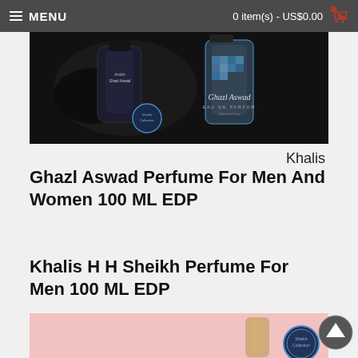MENU  |  0 item(s) - US$0.00
[Figure (photo): Ghazl Aswad perfume bottle in dark luxury setting with Sheikh Collection branding and Arabic text]
Khalis
Ghazl Aswad Perfume For Men And Women 100 ML EDP
Khalis H H Sheikh Perfume For Men 100 ML EDP
[Figure (photo): Khalis H H Sheikh perfume on pink background with Sheikh Collection medallion]